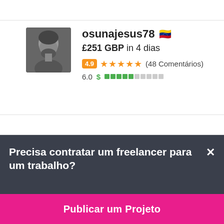[Figure (photo): Black and white photo of a man with a beard, used as profile avatar for osunajesus78]
osunajesus78 🇻🇪
£251 GBP in 4 dias
4.9 ★★★★★ (48 Comentários)
6.0 $ ▓▓▓▓▓░░░░░
Precisa contratar um freelancer para um trabalho?
Publicar um Projeto